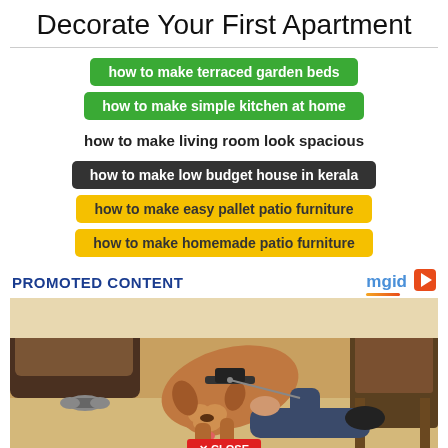Decorate Your First Apartment
how to make terraced garden beds
how to make simple kitchen at home
how to make living room look spacious
how to make low budget house in kerala
how to make easy pallet patio furniture
how to make homemade patio furniture
PROMOTED CONTENT
[Figure (photo): A dog licking a person lying on the floor, with furniture and weights visible in the background. A red CLOSE button appears at the bottom center.]